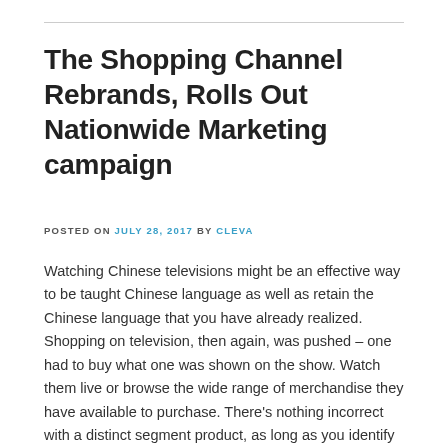The Shopping Channel Rebrands, Rolls Out Nationwide Marketing campaign
POSTED ON JULY 28, 2017 BY CLEVA
Watching Chinese televisions might be an effective way to be taught Chinese language as well as retain the Chinese language that you have already realized. Shopping on television, then again, was pushed – one had to buy what one was shown on the show. Watch them live or browse the wide range of merchandise they have available to purchase. There's nothing incorrect with a distinct segment product, as long as you identify your area of interest accurately and are capable of clearly talk what your product will do, however the major TELEVISION purchasing channels are distributed into hundreds of thousands of houses